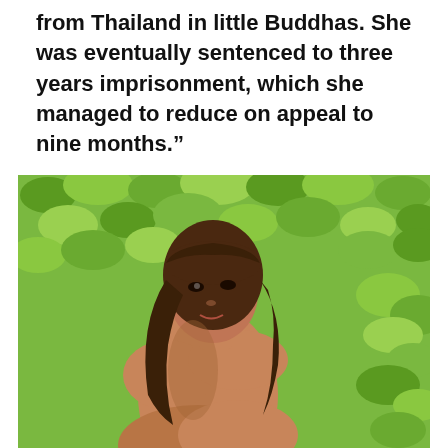from Thailand in little Buddhas. She was eventually sentenced to three years imprisonment, which she managed to reduce on appeal to nine months."
[Figure (photo): A young woman with long brown hair and bangs, sitting outdoors with her back partially turned toward the camera, looking back over her shoulder. The background is dense green foliage. Vintage-style photography with warm tones.]